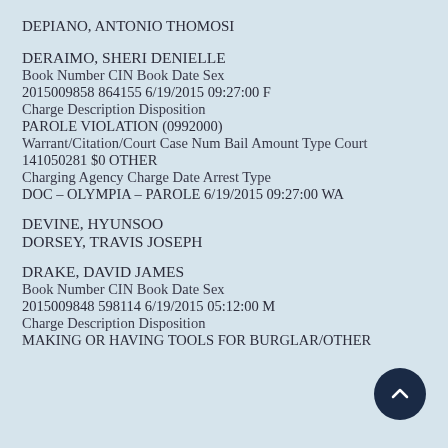DEPIANO, ANTONIO THOMOSI
DERAIMO, SHERI DENIELLE
Book Number CIN Book Date Sex
2015009858 864155 6/19/2015 09:27:00 F
Charge Description Disposition
PAROLE VIOLATION (0992000)
Warrant/Citation/Court Case Num Bail Amount Type Court
141050281 $0 OTHER
Charging Agency Charge Date Arrest Type
DOC – OLYMPIA – PAROLE 6/19/2015 09:27:00 WA
DEVINE, HYUNSOO
DORSEY, TRAVIS JOSEPH
DRAKE, DAVID JAMES
Book Number CIN Book Date Sex
2015009848 598114 6/19/2015 05:12:00 M
Charge Description Disposition
MAKING OR HAVING TOOLS FOR BURGLAR/OTHER